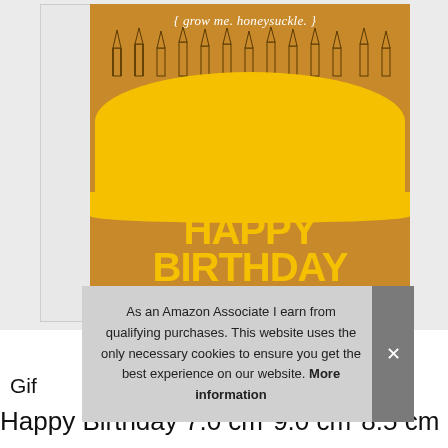[Figure (photo): A product photo showing a kraft cardboard box with a birthday cake graphic. The box has 'grow me. honeysuckle.' text at top, candles illustrated above a yellow cake graphic, and 'HAPPY BIRTHDAY' in large yellow text. A smaller '{grow me}' text is at the bottom of the box. Part of a white box is visible to the left.]
As an Amazon Associate I earn from qualifying purchases. This website uses the only necessary cookies to ensure you get the best experience on our website. More information
Gif
Happy Birthday 7.0 cm*9.0 cm*8.5 cm